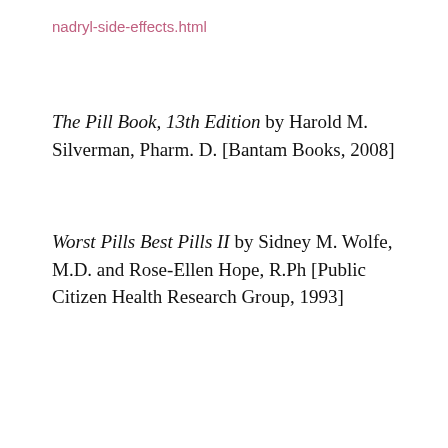nadryl-side-effects.html
The Pill Book, 13th Edition by Harold M. Silverman, Pharm. D. [Bantam Books, 2008]
Worst Pills Best Pills II by Sidney M. Wolfe, M.D. and Rose-Ellen Hope, R.Ph [Public Citizen Health Research Group, 1993]